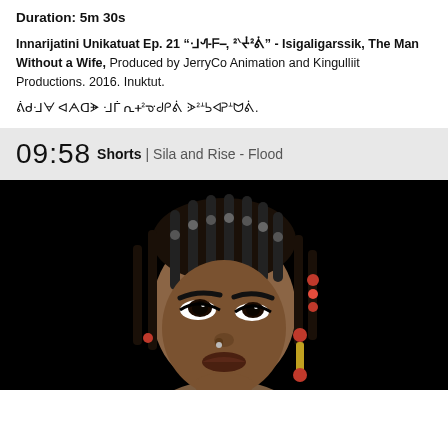Duration: 5m 30s
Innarijatini Unikatuat Ep. 21 “ᒲᗂ-ᖴ , ᒾᐠᔸᒾᕖ” - Isigaligarssik, The Man Without a Wife, Produced by JerryCo Animation and Kingulliit Productions. 2016. Inuktut.
ᕖᑯᒲᗄ ᐊᗅᗡᗘ ᒲᒦ ᕆᚐᒾᓊᑯᑭᕖ ᗈᒾᗮᕊᐊᕈᗮᗢᕖ.
09:58 Shorts | Sila and Rise - Flood
[Figure (photo): Close-up photo of a person looking upward against a black background, wearing beaded hair accessories and dangling earrings.]